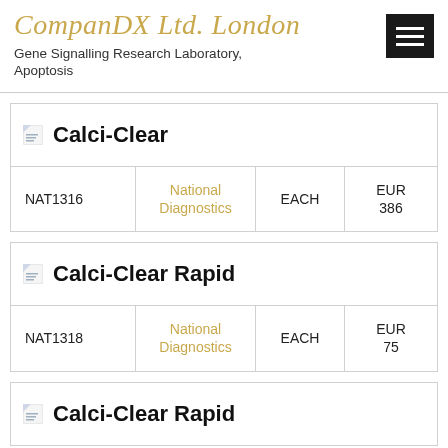CompanDX Ltd. London
Gene Signalling Research Laboratory, Apoptosis
| Calci-Clear |  |  |  |
| --- | --- | --- | --- |
| NAT1316 | National Diagnostics | EACH | EUR 386 |
| Calci-Clear Rapid |  |  |  |
| --- | --- | --- | --- |
| NAT1318 | National Diagnostics | EACH | EUR 75 |
Calci-Clear Rapid